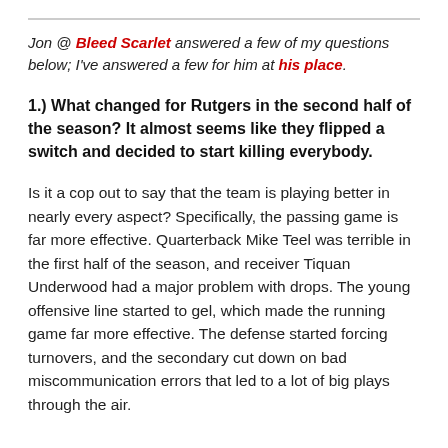Jon @ Bleed Scarlet answered a few of my questions below; I've answered a few for him at his place.
1.) What changed for Rutgers in the second half of the season? It almost seems like they flipped a switch and decided to start killing everybody.
Is it a cop out to say that the team is playing better in nearly every aspect? Specifically, the passing game is far more effective. Quarterback Mike Teel was terrible in the first half of the season, and receiver Tiquan Underwood had a major problem with drops. The young offensive line started to gel, which made the running game far more effective. The defense started forcing turnovers, and the secondary cut down on bad miscommunication errors that led to a lot of big plays through the air.